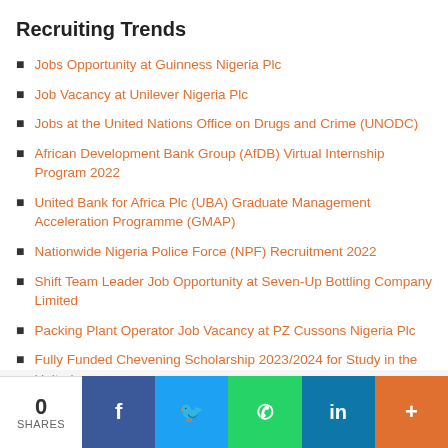Recruiting Trends
Jobs Opportunity at Guinness Nigeria Plc
Job Vacancy at Unilever Nigeria Plc
Jobs at the United Nations Office on Drugs and Crime (UNODC)
African Development Bank Group (AfDB) Virtual Internship Program 2022
United Bank for Africa Plc (UBA) Graduate Management Acceleration Programme (GMAP)
Nationwide Nigeria Police Force (NPF) Recruitment 2022
Shift Team Leader Job Opportunity at Seven-Up Bottling Company Limited
Packing Plant Operator Job Vacancy at PZ Cussons Nigeria Plc
Fully Funded Chevening Scholarship 2023/2024 for Study in the United
0 SHARES